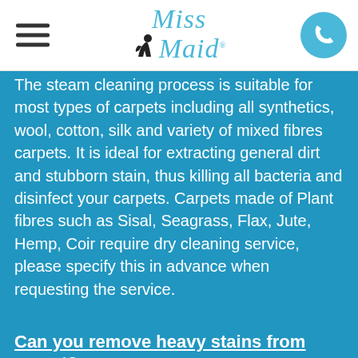Miss Maid
The steam cleaning process is suitable for most types of carpets including all synthetics, wool, cotton, silk and variety of mixed fibres carpets. It is ideal for extracting general dirt and stubborn stain, thus killing all bacteria and disinfect your carpets. Carpets made of Plant fibres such as Sisal, Seagrass, Flax, Jute, Hemp, Coir require dry cleaning service, please specify this in advance when requesting the service.
Can you remove heavy stains from carpet?
We use the most advanced carpet cleaning